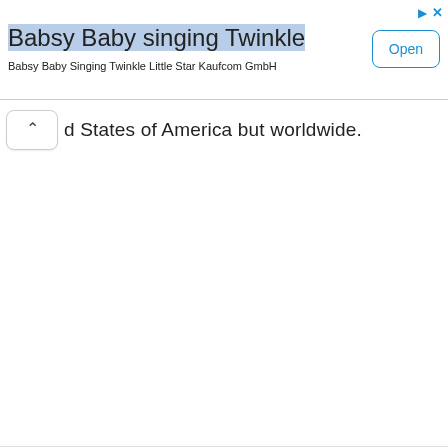[Figure (screenshot): Advertisement banner for 'Babsy Baby singing Twinkle' app by Kaufcom GmbH, with an 'Open' button and ad icons in the top right corner.]
d States of America but worldwide.